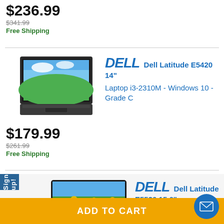$236.99
$341.99
Free Shipping
[Figure (photo): Dell Latitude E5420 laptop open showing Windows XP desktop wallpaper with green hills and blue sky]
DELL  Dell Latitude E5420 14" Laptop i3-2310M - Windows 10 - Grade C
$179.99
$261.99
Free Shipping
[Figure (photo): Dell Latitude E5520 tablet/laptop showing yellow flowers wallpaper on screen]
DELL  Dell Latitude E5520 15.6" Laptop i3-2350M - Windows 10 - Grade C
Sign up!
ADD TO CART